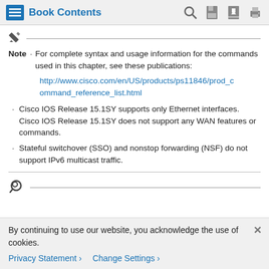Book Contents
Note · For complete syntax and usage information for the commands used in this chapter, see these publications: http://www.cisco.com/en/US/products/ps11846/prod_command_reference_list.html
Cisco IOS Release 15.1SY supports only Ethernet interfaces. Cisco IOS Release 15.1SY does not support any WAN features or commands.
Stateful switchover (SSO) and nonstop forwarding (NSF) do not support IPv6 multicast traffic.
By continuing to use our website, you acknowledge the use of cookies.
Privacy Statement > Change Settings >